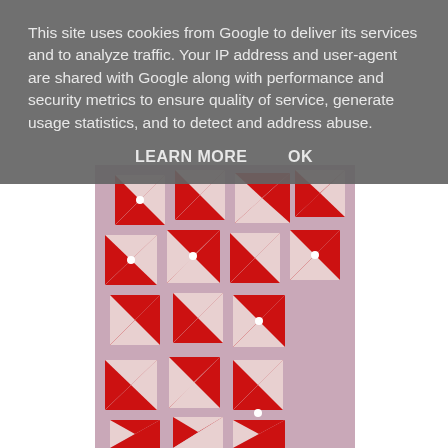This site uses cookies from Google to deliver its services and to analyze traffic. Your IP address and user-agent are shared with Google along with performance and security metrics to ensure quality of service, generate usage statistics, and to detect and address abuse.
LEARN MORE    OK
[Figure (photo): Photo of multiple red and white fabric pinwheel/star quilt blocks laid out on a lavender/pink surface, showing a quilt in progress with geometric triangular patterns.]